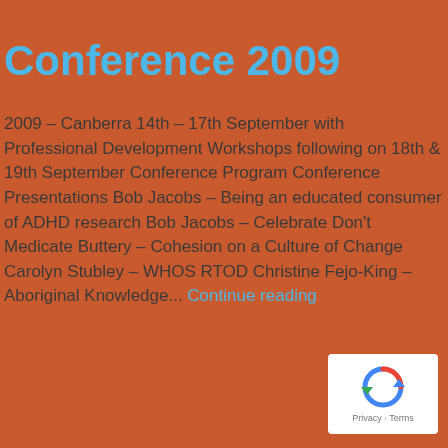Conference 2009
2009 – Canberra 14th – 17th September with Professional Development Workshops following on 18th & 19th September Conference Program Conference Presentations Bob Jacobs – Being an educated consumer of ADHD research Bob Jacobs – Celebrate Don't Medicate Buttery – Cohesion on a Culture of Change Carolyn Stubley – WHOS RTOD Christine Fejo-King – Aboriginal Knowledge... Continue reading
[Figure (logo): reCAPTCHA logo with Privacy and Terms text]